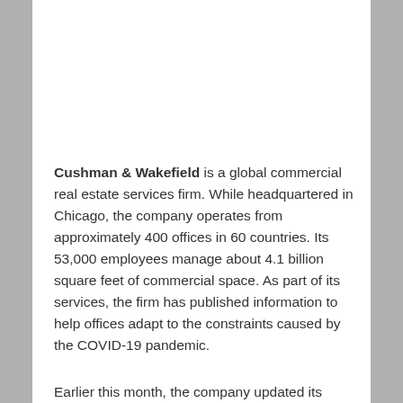Cushman & Wakefield is a global commercial real estate services firm. While headquartered in Chicago, the company operates from approximately 400 offices in 60 countries. Its 53,000 employees manage about 4.1 billion square feet of commercial space. As part of its services, the firm has published information to help offices adapt to the constraints caused by the COVID-19 pandemic.
Earlier this month, the company updated its “Recovery Readiness Guide” by adding new information based on insights gained through its ongoing work with clients, through thousands of